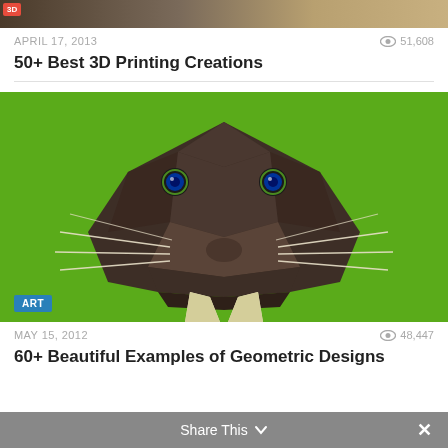[Figure (photo): Top partial image of a 3D printing article with a red '3D' badge in top left corner]
APRIL 17, 2013
51,608 views
50+ Best 3D Printing Creations
[Figure (illustration): Geometric low-poly style illustration of a walrus face on a green background, with dark brown polygonal face, two tusks, whiskers, and green eyes. Blue 'ART' badge in bottom left corner.]
MAY 15, 2012
48,447 views
60+ Beautiful Examples of Geometric Designs
Share This ×